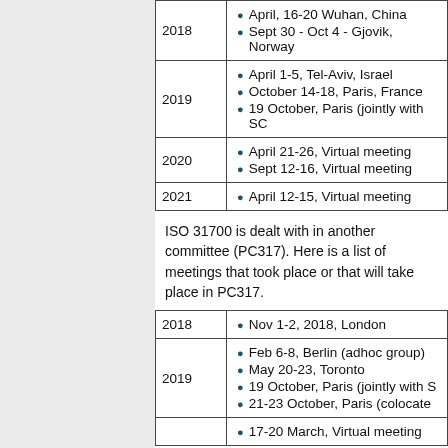| Year | Events |
| --- | --- |
| 2018 | April, 16-20 Wuhan, China
Sept 30 - Oct 4 - Gjovik, Norway |
| 2019 | April 1-5, Tel-Aviv, Israel
October 14-18, Paris, France
19 October, Paris (jointly with SC...) |
| 2020 | April 21-26, Virtual meeting
Sept 12-16, Virtual meeting |
| 2021 | April 12-15, Virtual meeting |
ISO 31700 is dealt with in another committee (PC317). Here is a list of meetings that took place or that will take place in PC317.
| Year | Events |
| --- | --- |
| 2018 | Nov 1-2, 2018, London |
| 2019 | Feb 6-8, Berlin (adhoc group)
May 20-23, Toronto
19 October, Paris (jointly with S...)
21-23 October, Paris (colocate...) |
| (more) | 17-20 March, Virtual meeting (partial) |